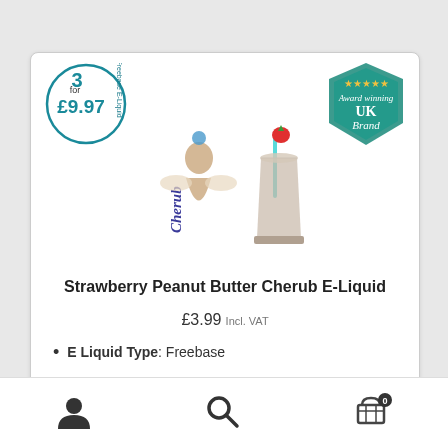[Figure (logo): Round teal circle badge with '3 for £9.97' and 'Freebase E-Liquid' text]
[Figure (logo): Teal hexagon award badge with stars reading 'Award winning UK Brand']
[Figure (photo): Cherub e-liquid brand logo with angel figure and 'Cherub' text, alongside a milkshake glass with strawberry and straw]
Strawberry Peanut Butter Cherub E-Liquid
£3.99 Incl. VAT
E Liquid Type: Freebase